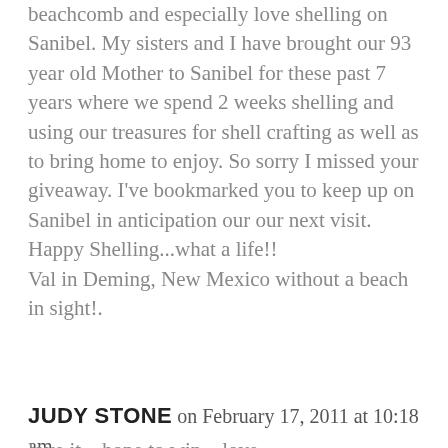beachcomb and especially love shelling on Sanibel. My sisters and I have brought our 93 year old Mother to Sanibel for these past 7 years where we spend 2 weeks shelling and using our treasures for shell crafting as well as to bring home to enjoy. So sorry I missed your giveaway. I've bookmarked you to keep up on Sanibel in anticipation our our next visit.
Happy Shelling...what a life!!
Val in Deming, New Mexico without a beach in sight!.
Reply
JUDY STONE on February 17, 2011 at 10:18 am
love it – hope to win – love